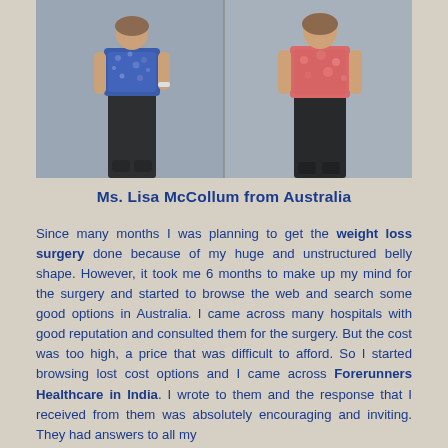[Figure (photo): Two side-by-side photos of a woman, before and after weight loss surgery. Left photo shows woman in blue patterned top and black skirt. Right photo shows same woman in coral/pink top and black pants.]
Ms. Lisa McCollum from Australia
Since many months I was planning to get the weight loss surgery done because of my huge and unstructured belly shape. However, it took me 6 months to make up my mind for the surgery and started to browse the web and search some good options in Australia. I came across many hospitals with good reputation and consulted them for the surgery. But the cost was too high, a price that was difficult to afford. So I started browsing lost cost options and I came across Forerunners Healthcare in India. I wrote to them and the response that I received from them was absolutely encouraging and inviting. They had answers to all my